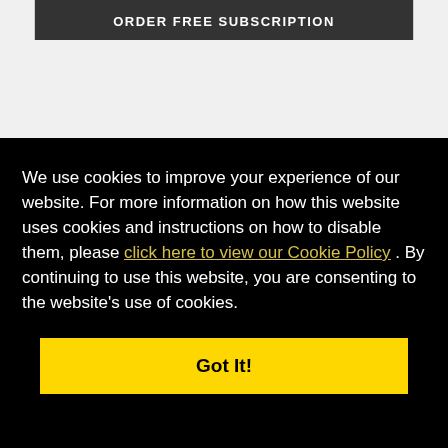ORDER FREE SUBSCRIPTION
We use cookies to improve your experience of our website. For more information on how this website uses cookies and instructions on how to disable them, please click here to view our Cookie Policy . By continuing to use this website, you are consenting to the website's use of cookies.
Got It!